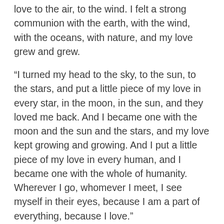love to the air, to the wind. I felt a strong communion with the earth, with the wind, with the oceans, with nature, and my love grew and grew.
“I turned my head to the sky, to the sun, to the stars, and put a little piece of my love in every star, in the moon, in the sun, and they loved me back. And I became one with the moon and the sun and the stars, and my love kept growing and growing. And I put a little piece of my love in every human, and I became one with the whole of humanity. Wherever I go, whomever I meet, I see myself in their eyes, because I am a part of everything, because I love.”
And then the old man opens his own chest, takes out his heart with that beautiful flame inside, and he puts that flame in your heart. And now that love is growing inside of you. Now you are one with the wind, with the water, with the stars, with all of nature, with all animals, and with all humans. You feel the heat and the light emanating from the flame in your